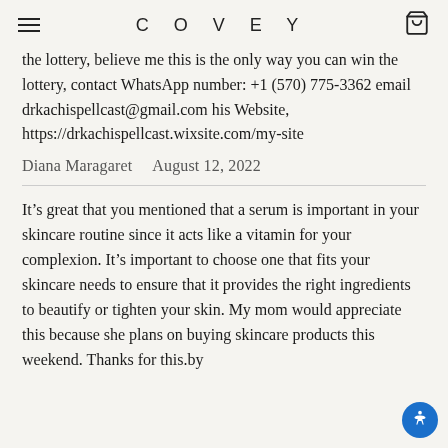COVEY
the lottery, believe me this is the only way you can win the lottery, contact WhatsApp number: +1 (570) 775-3362 email drkachispellcast@gmail.com his Website, https://drkachispellcast.wixsite.com/my-site
Diana Maragaret    August 12, 2022
It’s great that you mentioned that a serum is important in your skincare routine since it acts like a vitamin for your complexion. It’s important to choose one that fits your skincare needs to ensure that it provides the right ingredients to beautify or tighten your skin. My mom would appreciate this because she plans on buying skincare products this weekend. Thanks for this.by